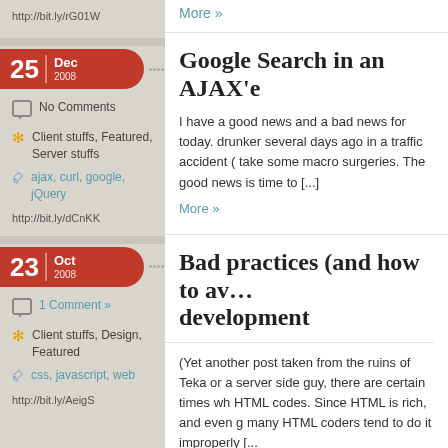http://bit.ly/rG01W
More »
25 | Dec 2008
No Comments
Client stuffs, Featured, Server stuffs
ajax, curl, google, jQuery
http://bit.ly/dCnKK
Google Search in an AJAX'e
I have a good news and a bad news for today. drunker several days ago in a traffic accident ( take some macro surgeries. The good news is time to [...]
More »
23 | Oct 2008
1 Comment »
Client stuffs, Design, Featured
css, javascript, web
http://bit.ly/AeigS
Bad practices (and how to av... development
(Yet another post taken from the ruins of Teka or a server side guy, there are certain times wh HTML codes. Since HTML is rich, and even g many HTML coders tend to do it improperly [...
More »